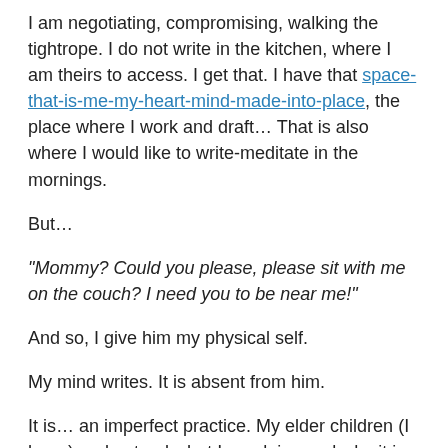I am negotiating, compromising, walking the tightrope. I do not write in the kitchen, where I am theirs to access. I get that. I have that space-that-is-me-my-heart-mind-made-into-place, the place where I work and draft… That is also where I would like to write-meditate in the mornings.
But…
“Mommy? Could you please, please sit with me on the couch? I need you to be near me!”
And so, I give him my physical self.
My mind writes. It is absent from him.
It is… an imperfect practice. My elder children (I hope) understand what I am doing and why it is so important to me (if they don’t quite understand, they accept). The little one does not. He knows-sees that I’m not fully there for